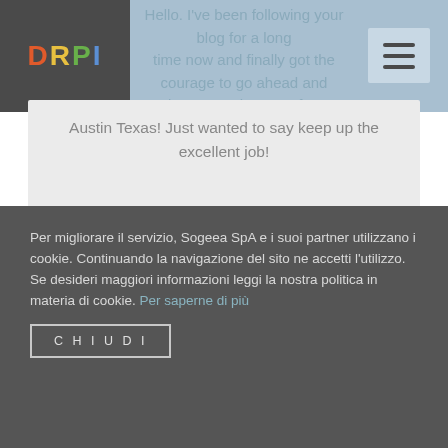DRPI
Hello. I've been following your blog for a long time now and finally got the courage to go ahead and give you a shout out from Austin Texas! Just wanted to say keep up the excellent job!
Also visit my web site Jenni
Per migliorare il servizio, Sogeea SpA e i suoi partner utilizzano i cookie. Continuando la navigazione del sito ne accetti l'utilizzo.
Se desideri maggiori informazioni leggi la nostra politica in materia di cookie. Per saperne di più
CHIUDI